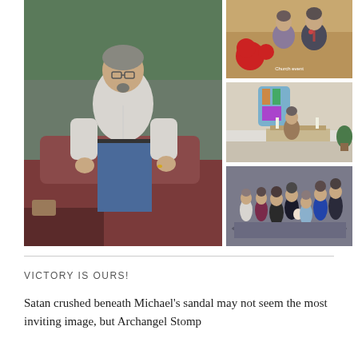[Figure (photo): Collage of four photographs: left - a middle-aged man with glasses and a goatee standing in front of a vintage red truck outdoors; top-right - a couple (woman and bearded man) posing in a church decorated with poinsettias; middle-right - a person at a church altar with stained glass window; bottom-right - a group family photo of approximately 8 people dressed formally.]
VICTORY IS OURS!
Satan crushed beneath Michael's sandal may not seem the most inviting image, but Archangel Stomp